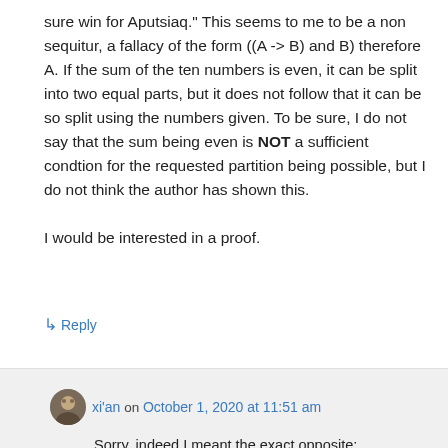sure win for Aputsiaq." This seems to me to be a non sequitur, a fallacy of the form ((A -> B) and B) therefore A. If the sum of the ten numbers is even, it can be split into two equal parts, but it does not follow that it can be so split using the numbers given. To be sure, I do not say that the sum being even is NOT a sufficient condtion for the requested partition being possible, but I do not think the author has shown this.
I would be interested in a proof.
↳ Reply
xi'an on October 1, 2020 at 11:51 am
Sorry, indeed I meant the exact opposite: